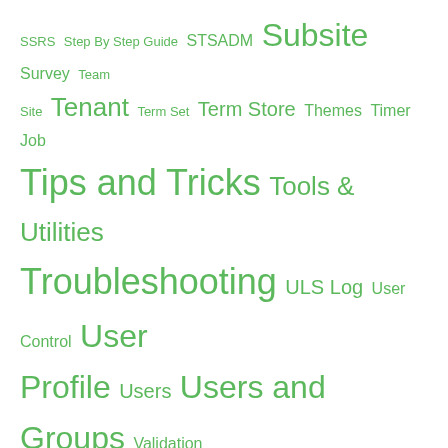SSRS  Step By Step Guide  STSADM  Subsite  Survey  Team Site  Tenant  Term Set  Term Store  Themes  Timer Job  Tips and Tricks  Tools & Utilities  Troubleshooting  ULS Log  User Control  User Profile  Users  Users and Groups  Validation  Version History  Visual Studio  web.config  Web Application  Web Parts  Web Services  Windows Server  Workflows  WSP Solution  XML  XSL
Recent
SharePoint Online: How to Enable “View in File Explorer” in Microsoft Edge?
Switch between Document Libraries with Document Library Dropdown Menu in